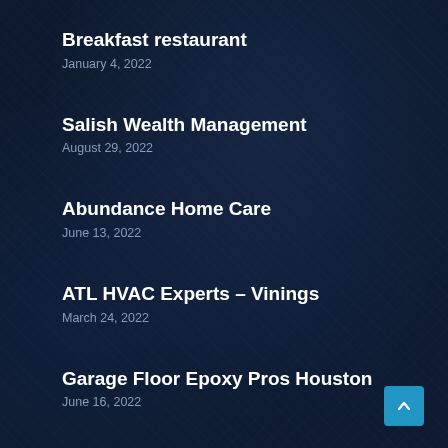Breakfast restaurant
January 4, 2022
Salish Wealth Management
August 29, 2022
Abundance Home Care
June 13, 2022
ATL HVAC Experts – Vinings
March 24, 2022
Garage Floor Epoxy Pros Houston
June 16, 2022